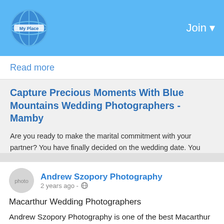Join
Read more
Capture Precious Moments With Blue Mountains Wedding Photographers - Mamby
Are you ready to make the marital commitment with your partner? You have finally decided on the wedding date. You have conducted extensive homework, zeroed
0 Comments
Andrew Szopory Photography
2 years ago -
Macarthur Wedding Photographers
Andrew Szopory Photography is one of the best Macarthur wedding photographers if you are looking for a local or destination wedding in an most amazing